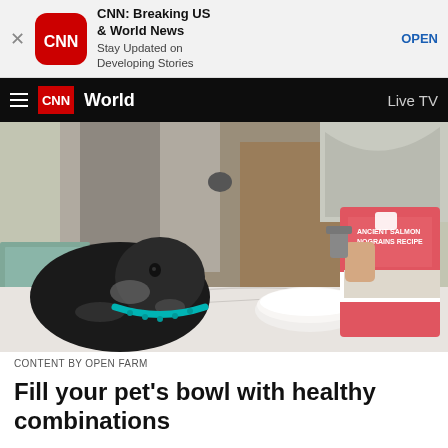[Figure (screenshot): App store ad banner for CNN: Breaking US & World News with CNN logo, app icon, and OPEN button]
CNN World   Live TV
[Figure (photo): Person pouring pet food from a pink bag labeled 'Ancient Grains Recipe' into a white bowl on a marble countertop, with a black and grey spotted dog wearing a teal collar looking into the bowl]
CONTENT BY OPEN FARM
Fill your pet's bowl with healthy combinations